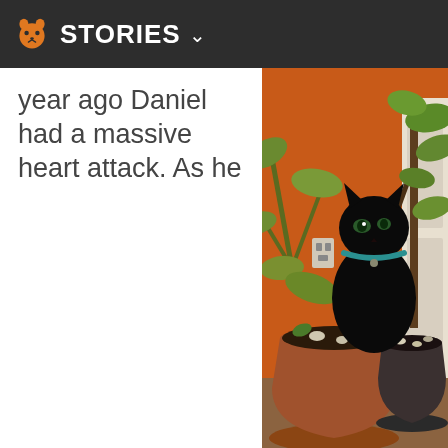STORIES
year ago Daniel had a massive heart attack. As he
[Figure (photo): A black cat with a teal collar peers through green succulent plants. In the foreground are two terracotta and dark pots with soil, pebbles and small plants. The background shows an orange wall and a white door.]